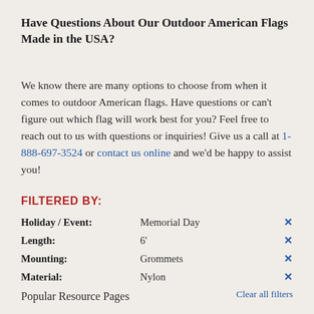Have Questions About Our Outdoor American Flags Made in the USA?
We know there are many options to choose from when it comes to outdoor American flags. Have questions or can't figure out which flag will work best for you? Feel free to reach out to us with questions or inquiries! Give us a call at 1-888-697-3524 or contact us online and we'd be happy to assist you!
FILTERED BY:
| Filter | Value |  |
| --- | --- | --- |
| Holiday / Event: | Memorial Day | ✕ |
| Length: | 6' | ✕ |
| Mounting: | Grommets | ✕ |
| Material: | Nylon | ✕ |
Clear all filters
Popular Resource Pages